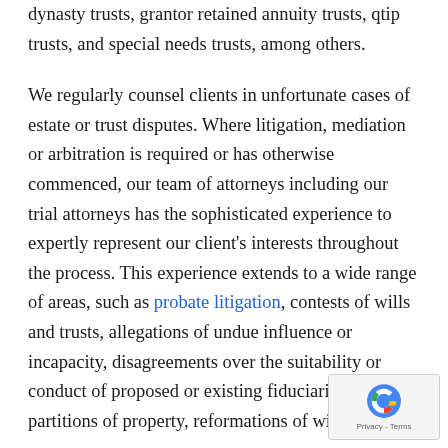dynasty trusts, grantor retained annuity trusts, qtip trusts, and special needs trusts, among others.
We regularly counsel clients in unfortunate cases of estate or trust disputes. Where litigation, mediation or arbitration is required or has otherwise commenced, our team of attorneys including our trial attorneys has the sophisticated experience to expertly represent our client's interests throughout the process. This experience extends to a wide range of areas, such as probate litigation, contests of wills and trusts, allegations of undue influence or incapacity, disagreements over the suitability or conduct of proposed or existing fiduciaries, partitions of property, reformations of will and trust